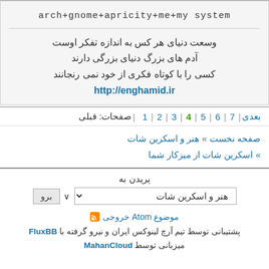arch+gnome+apricity+me+my system
وسعت دنیای هر کس به اندازه تفکر اوست
آدم های بزرگ دنیای بزرگی دارند
کسی را با کوتاه فکری از خود نمی رنجانند
http://enghamid.ir
صفحات: قبلی | 1 | 2 | 3 | 4 | 5 | 6 | 7 | بعدی
صفحه نخست » هنر و اسکرین شات » اسکرین شات از میزکار شما
پریدن به
هنر و اسکرین شات
خروجی Atom موضوع
پشتیبانی توسط تیم آرچ لینوکس ایران و نیرو گرفته با FluxBB
میزبانی توسط MahanCloud